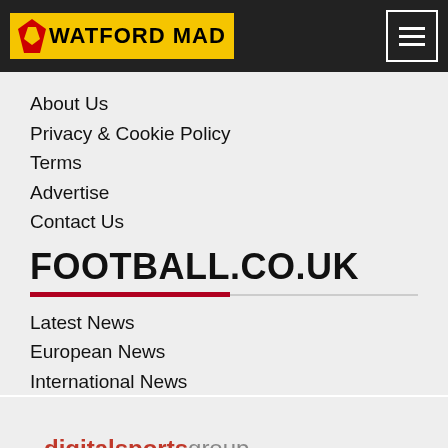WATFORD MAD
About Us
Privacy & Cookie Policy
Terms
Advertise
Contact Us
FOOTBALL.CO.UK
Latest News
European News
International News
[Figure (logo): digital sports group logo in red and grey]
© 2004 - 2022 www.watford-mad.co.uk